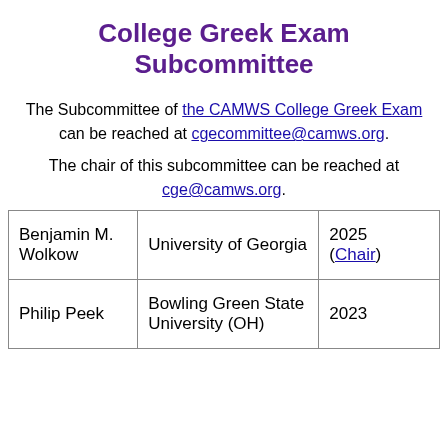College Greek Exam Subcommittee
The Subcommittee of the CAMWS College Greek Exam can be reached at cgecommittee@camws.org.
The chair of this subcommittee can be reached at cge@camws.org.
|  |  |  |
| --- | --- | --- |
| Benjamin M. Wolkow | University of Georgia | 2025 (Chair) |
| Philip Peek | Bowling Green State University (OH) | 2023 |